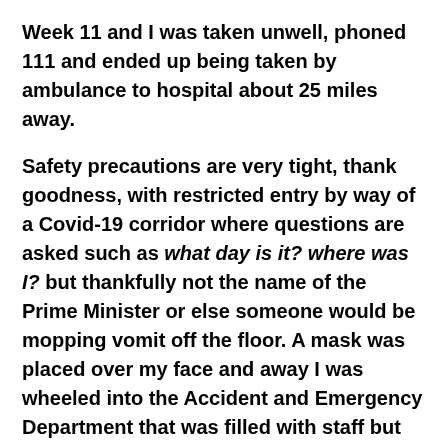Week 11 and I was taken unwell, phoned 111 and ended up being taken by ambulance to hospital about 25 miles away.
Safety precautions are very tight, thank goodness, with restricted entry by way of a Covid-19 corridor where questions are asked such as what day is it? where was I? but thankfully not the name of the Prime Minister or else someone would be mopping vomit off the floor. A mask was placed over my face and away I was wheeled into the Accident and Emergency Department that was filled with staff but few patients.
I was seen by so many doctors and nurses I lost count of the number and underwent tests and tests and more tests, including one for Covid-19. Not sure I'd